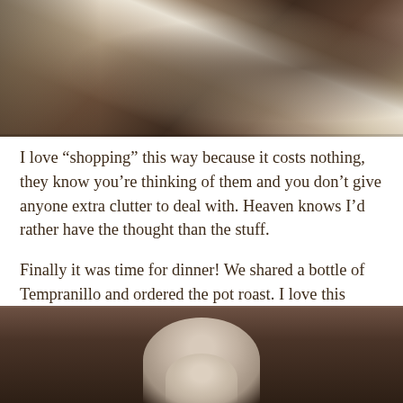[Figure (photo): Top photo showing what appears to be a white fabric or canvas item at an angle on a dark surface, with some objects visible in the background including what looks like chairs or furniture with gold accents.]
I love “shopping” this way because it costs nothing, they know you’re thinking of them and you don’t give anyone extra clutter to deal with. Heaven knows I’d rather have the thought than the stuff.
Finally it was time for dinner! We shared a bottle of Tempranillo and ordered the pot roast. I love this picture of my mom. So cute!
[Figure (photo): Bottom photo showing an elderly woman with short white/gray hair, partially cropped, appearing to be seated at a restaurant or dining setting.]